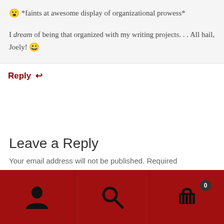😮 *faints at awesome display of organizational prowess*
I dream of being that organized with my writing projects. . . All hail, Joely! 😀
Reply ↩
Leave a Reply
Your email address will not be published. Required
[Figure (infographic): Bottom navigation bar with dark red background containing three icons: user/person icon, search/magnifying glass icon, and shopping cart icon with badge showing 0]